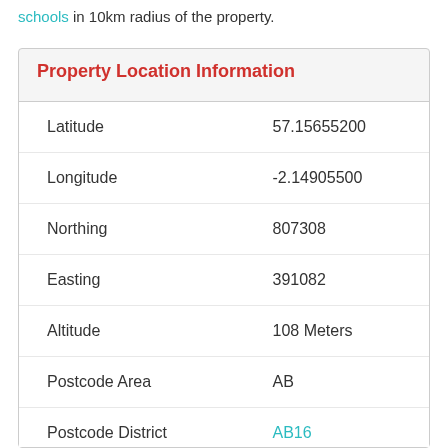schools in 10km radius of the property.
Property Location Information
| Field | Value |
| --- | --- |
| Latitude | 57.15655200 |
| Longitude | -2.14905500 |
| Northing | 807308 |
| Easting | 391082 |
| Altitude | 108 Meters |
| Postcode Area | AB |
| Postcode District | AB16 |